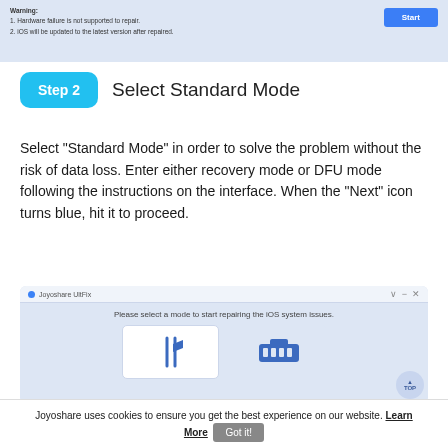[Figure (screenshot): Top portion of Joyoshare UltFix software interface showing Warning text and a blue Start button on a light blue background]
Step 2   Select Standard Mode
Select "Standard Mode" in order to solve the problem without the risk of data loss. Enter either recovery mode or DFU mode following the instructions on the interface. When the "Next" icon turns blue, hit it to proceed.
[Figure (screenshot): Joyoshare UltFix software window showing 'Please select a mode to start repairing the iOS system issues.' with two mode cards — Standard Mode (fork and wrench icon) and another mode (toolbox icon)]
Joyoshare uses cookies to ensure you get the best experience on our website. Learn More  Got it!